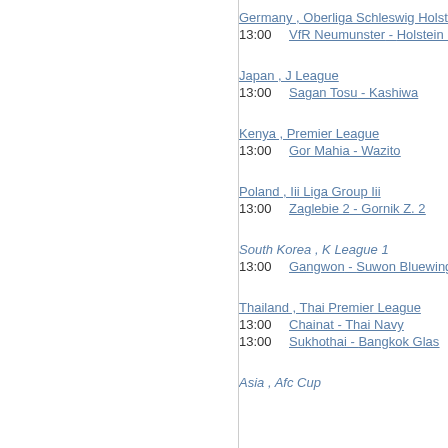Germany , Oberliga Schleswig Holstein
13:00   VfR Neumunster - Holstein K
Japan , J League
13:00   Sagan Tosu - Kashiwa
Kenya , Premier League
13:00   Gor Mahia - Wazito
Poland , Iii Liga Group Iii
13:00   Zaglebie 2 - Gornik Z. 2
South Korea , K League 1
13:00   Gangwon - Suwon Bluewing
Thailand , Thai Premier League
13:00   Chainat - Thai Navy
13:00   Sukhothai - Bangkok Glas
Asia , Afc Cup